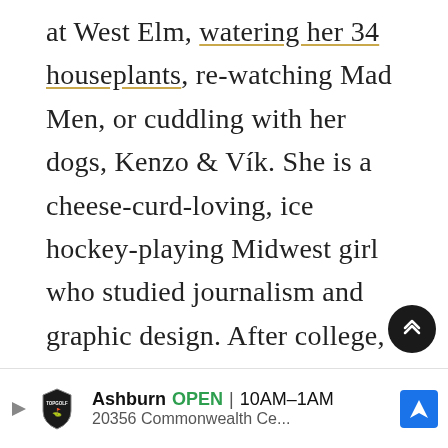at West Elm, watering her 34 houseplants, re-watching Mad Men, or cuddling with her dogs, Kenzo & Vík. She is a cheese-curd-loving, ice hockey-playing Midwest girl who studied journalism and graphic design. After college, she took her creative expertise and started Studio 29 Photography. She is an expert in client communication, portrait photography, small business building & houseplant care.
[Figure (other): Scroll to top button - dark circle with double chevron up arrow]
Ashburn OPEN 10AM–1AM 20356 Commonwealth Ce...